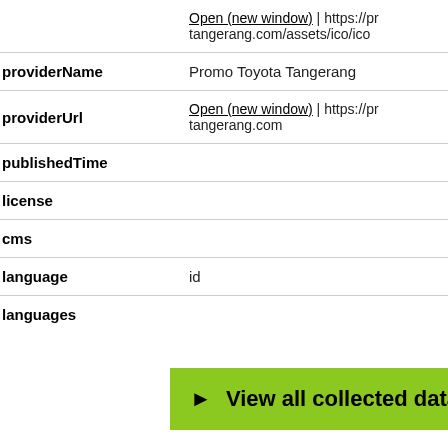| Key | Value |
| --- | --- |
| (icon row) | Open (new window) | https://pr tangerang.com/assets/ico/ico |
| providerName | Promo Toyota Tangerang |
| providerUrl | Open (new window) | https://pr tangerang.com |
| publishedTime |  |
| license |  |
| cms |  |
| language | id |
| languages |  |
▶ View all collected data